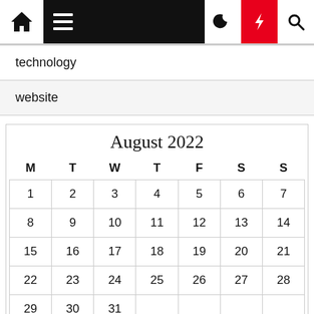Navigation bar with home, menu, moon, lightning, search icons
technology
website
| M | T | W | T | F | S | S |
| --- | --- | --- | --- | --- | --- | --- |
| 1 | 2 | 3 | 4 | 5 | 6 | 7 |
| 8 | 9 | 10 | 11 | 12 | 13 | 14 |
| 15 | 16 | 17 | 18 | 19 | 20 | 21 |
| 22 | 23 | 24 | 25 | 26 | 27 | 28 |
| 29 | 30 | 31 |  |  |  |  |